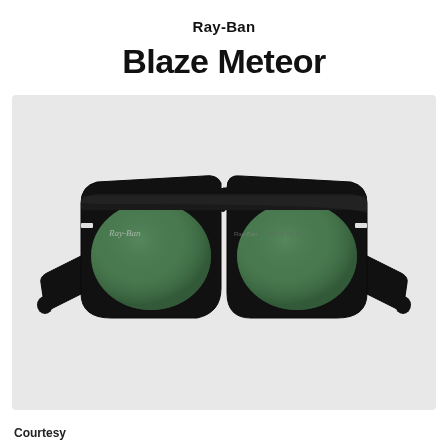Ray-Ban
Blaze Meteor
[Figure (photo): Ray-Ban Blaze Meteor sunglasses with black frame and dark green lenses, shown front-facing on light gray background]
Courtesy